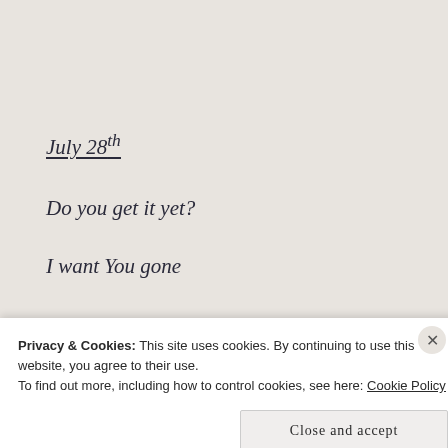July 28th
Do you get it yet?
I want You gone
Disappear
Privacy & Cookies: This site uses cookies. By continuing to use this website, you agree to their use.
To find out more, including how to control cookies, see here: Cookie Policy
Close and accept